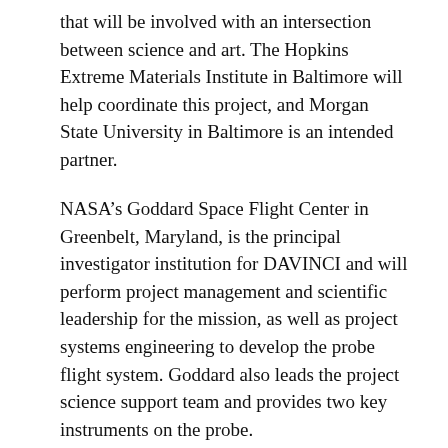that will be involved with an intersection between science and art. The Hopkins Extreme Materials Institute in Baltimore will help coordinate this project, and Morgan State University in Baltimore is an intended partner.
NASA’s Goddard Space Flight Center in Greenbelt, Maryland, is the principal investigator institution for DAVINCI and will perform project management and scientific leadership for the mission, as well as project systems engineering to develop the probe flight system. Goddard also leads the project science support team and provides two key instruments on the probe.
Source: SciTechDaily
Related